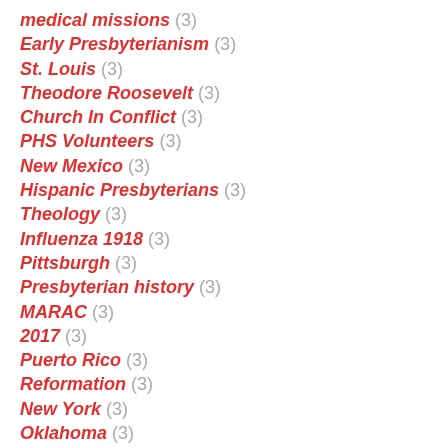medical missions (3)
Early Presbyterianism (3)
St. Louis (3)
Theodore Roosevelt (3)
Church In Conflict (3)
PHS Volunteers (3)
New Mexico (3)
Hispanic Presbyterians (3)
Theology (3)
Influenza 1918 (3)
Pittsburgh (3)
Presbyterian history (3)
MARAC (3)
2017 (3)
Puerto Rico (3)
Reformation (3)
New York (3)
Oklahoma (3)
Old Pine Street Presbyterian Church (3)